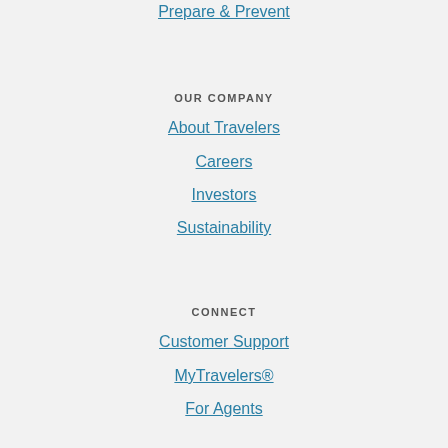Prepare & Prevent
OUR COMPANY
About Travelers
Careers
Investors
Sustainability
CONNECT
Customer Support
MyTravelers®
For Agents